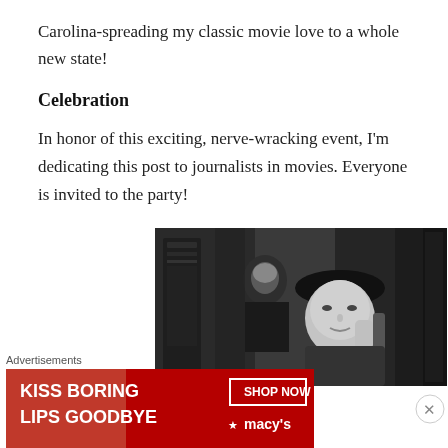Carolina-spreading my classic movie love to a whole new state!
Celebration
In honor of this exciting, nerve-wracking event, I'm dedicating this post to journalists in movies. Everyone is invited to the party!
[Figure (photo): Black and white still from a classic film showing a woman in a hat holding a phone to her ear, with a man visible in the background]
Advertisements
[Figure (infographic): Macy's advertisement banner with red background reading KISS BORING LIPS GOODBYE with a SHOP NOW button and Macy's logo]